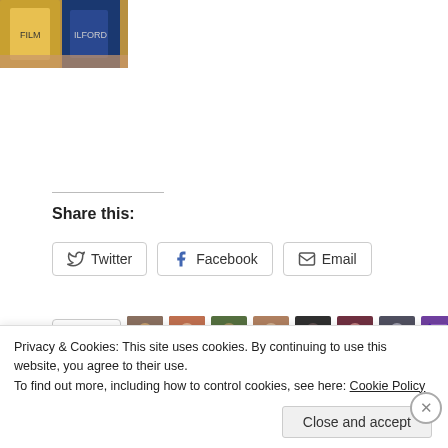[Figure (photo): Photo of film canisters held in a hand, top-left corner]
Share this:
Twitter  Facebook  Email (share buttons)
Like  [9 blogger avatars]
9 bloggers like this.
Remembering The Translator: Denis Jackson
Meet the translator: Denis Jackson (Part One)
Privacy & Cookies: This site uses cookies. By continuing to use this website, you agree to their use.
To find out more, including how to control cookies, see here: Cookie Policy
Close and accept